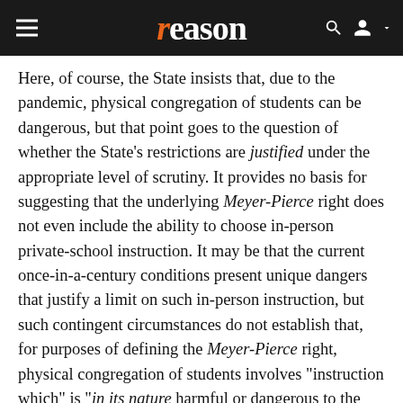reason
Here, of course, the State insists that, due to the pandemic, physical congregation of students can be dangerous, but that point goes to the question of whether the State's restrictions are justified under the appropriate level of scrutiny. It provides no basis for suggesting that the underlying Meyer-Pierce right does not even include the ability to choose in-person private-school instruction. It may be that the current once-in-a-century conditions present unique dangers that justify a limit on such in-person instruction, but such contingent circumstances do not establish that, for purposes of defining the Meyer-Pierce right, physical congregation of students involves "instruction which" is "in its nature harmful or dangerous to the public" and is therefore altogether outside of that right. The traditional and long-established nature of in-person private schooling refutes any such categorical suggestion.